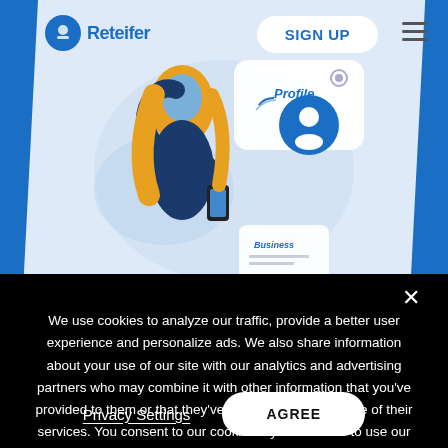[Figure (screenshot): Website screenshot showing a navigation bar with logo 'Reteifer', a SIGN UP button, and an illustration of a woman with orange hair pointing at a profile icon on a light blue background.]
We use cookies to analyze our traffic, provide a better user experience and personalize ads. We also share information about your use of our site with our analytics and advertising partners who may combine it with other information that you've provided to them or that they've collected from your use of their services. You consent to our cookies if you continue to use our website.
Privacy Settings
AGREE